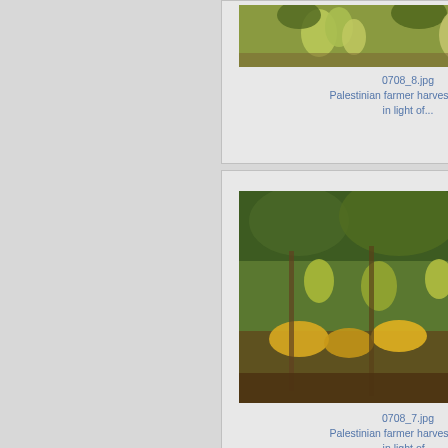[Figure (photo): Close-up photo of green grapes hanging on a vine]
0708_8.jpg
Palestinian farmer harvest grapes in light of...
[Figure (photo): Photo of grape vines with clusters of grapes and yellow flowers below, supported by poles]
0708_7.jpg
Palestinian farmer harvest grapes in light of...
[Figure (photo): Partial photo of a person wearing a hat, shown from approximately the shoulders up]